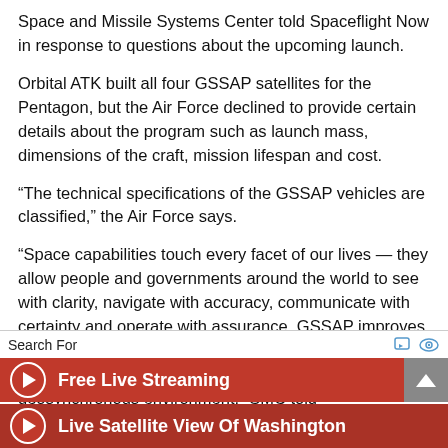Space and Missile Systems Center told Spaceflight Now in response to questions about the upcoming launch.
Orbital ATK built all four GSSAP satellites for the Pentagon, but the Air Force declined to provide certain details about the program such as launch mass, dimensions of the craft, mission lifespan and cost.
“The technical specifications of the GSSAP vehicles are classified,” the Air Force says.
“Space capabilities touch every facet of our lives — they allow people and governments around the world to see with clarity, navigate with accuracy, communicate with certainty and operate with assurance. GSSAP improves our ability to rapidly detect, warn, characterize and attribute disturbances to space systems in the geosynchronous environment,” SMC told
Search For
Free Live Streaming
Live Satellite View Of Washington